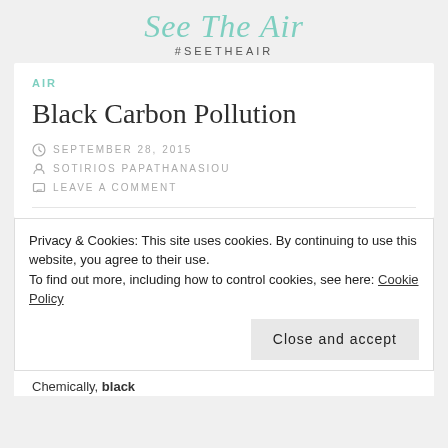See The Air
#SEETHEAIR
AIR
Black Carbon Pollution
SEPTEMBER 28, 2015
SOTIRIOS PAPATHANASIOU
LEAVE A COMMENT
Privacy & Cookies: This site uses cookies. By continuing to use this website, you agree to their use.
To find out more, including how to control cookies, see here: Cookie Policy
Chemically, black